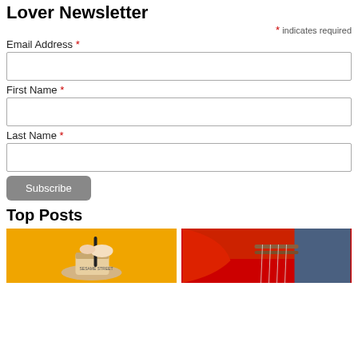Lover Newsletter
* indicates required
Email Address *
First Name *
Last Name *
Subscribe
Top Posts
[Figure (photo): Person stirring a drink cup with yellow/orange background - Sesame Street branded cup]
[Figure (photo): Red fabric or surface near a wooden instrument on blue background]